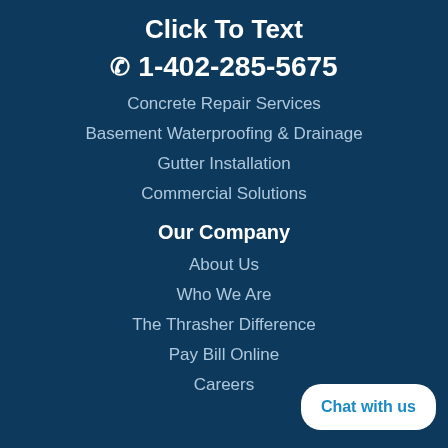Click To Text
☎ 1-402-285-5675
Concrete Repair Services
Basement Waterproofing & Drainage
Gutter Installation
Commercial Solutions
Our Company
About Us
Who We Are
The Thrasher Difference
Pay Bill Online
Careers
Chat with us